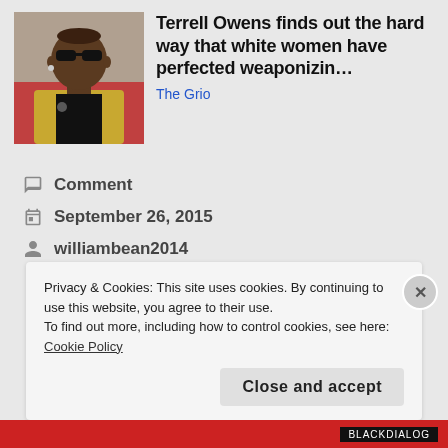[Figure (photo): Photo of Terrell Owens wearing sunglasses and a gold jacket]
Terrell Owens finds out the hard way that white women have perfected weaponizin...
The Grio
Comment
September 26, 2015
williambean2014
Privacy & Cookies: This site uses cookies. By continuing to use this website, you agree to their use.
To find out more, including how to control cookies, see here:
Cookie Policy
Close and accept